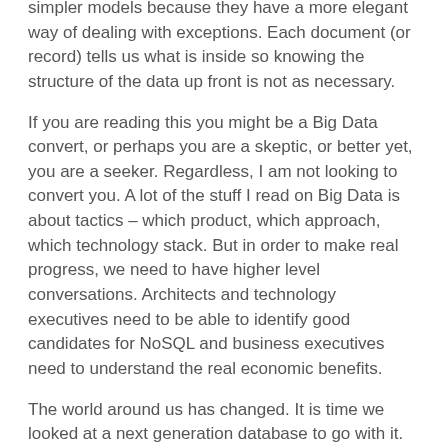simpler models because they have a more elegant way of dealing with exceptions. Each document (or record) tells us what is inside so knowing the structure of the data up front is not as necessary.
If you are reading this you might be a Big Data convert, or perhaps you are a skeptic, or better yet, you are a seeker. Regardless, I am not looking to convert you. A lot of the stuff I read on Big Data is about tactics – which product, which approach, which technology stack. But in order to make real progress, we need to have higher level conversations. Architects and technology executives need to be able to identify good candidates for NoSQL and business executives need to understand the real economic benefits.
The world around us has changed. It is time we looked at a next generation database to go with it.
*Disclaimer: Al Gore did not really invent the Internet
Sponsored by MarkLogic